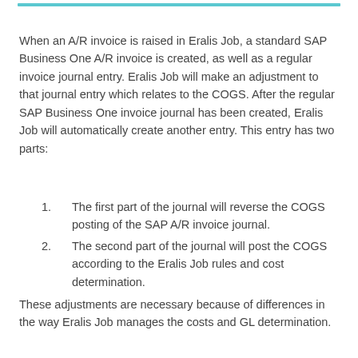When an A/R invoice is raised in Eralis Job, a standard SAP Business One A/R invoice is created, as well as a regular invoice journal entry. Eralis Job will make an adjustment to that journal entry which relates to the COGS. After the regular SAP Business One invoice journal has been created, Eralis Job will automatically create another entry. This entry has two parts:
The first part of the journal will reverse the COGS posting of the SAP A/R invoice journal.
The second part of the journal will post the COGS according to the Eralis Job rules and cost determination.
These adjustments are necessary because of differences in the way Eralis Job manages the costs and GL determination.